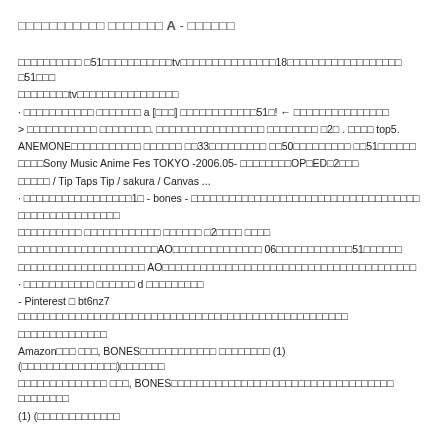□□□□□□□□□□□ □□□□□□□ A - □□□□□□
□□□□□□□□□□ □51□□□□□□□□□□□tv□□□□□□□□□□□□□□□18□□□□□□□□□□□□□□□□□□ □51□□□ □□□□□□□□tv□□□□□□□□□□□□□□□□
· □□□□□□□□□□□ □□□□□□□ a [□□□] □□□□□□□□□□□□51□! ← □□□□□□□□□□□□□□□
> □□□□□□□□□□□ □□□□□□□□. □□□□□□□□□□□□□□□□□ □□□□□□□□ □2□ . □□□□ top5.
ANEMONE□□□□□□□□□□□ □□□□□□ □□33□□□□□□□□□ □□50□□□□□□□□□ □□51□□□□□□ □□□□Sony Music Anime Fes TOKYO -2006.05- □□□□□□□□OP□ED□2□□□ □□□□□ / Tip Taps Tip / sakura / Canvas ...
· □□□□□□□□□□□□□□□□□1□ - bones - □□□□□□□□□□□□□□□□□□□□□□□□□□□□□□□□□□□□ □□□□□□□□□□□□□□□□
□□□□□□□□□□ □□□□□□□□□□□□ □□□□□□ □2□□□□ □□□□
□□□□□□□□□□□□□□□□□□□□□□AO□□□□□□□□□□□□□□ 06□□□□□□□□□□□□51□□□□□□ □□□□□□□□□□□□□□□□□□□□ AO□□□□□□□□□□□□□□□□□□□□□□□□□□□□□□□□□□□□□□□□
· □□□□□□□□□□□ □□□□□□ d □□□□□□□□□
- Pinterest □ bt6nz7 □□□□□□□□□□□□□□□□□□□□□□□□□□□□□□□□□□□□□□□□□□□□□□□□□□□□ □□□□□□□□□□□□□□
Amazon□□□ □□□, BONES□□□□□□□□□□□□ □□□□□□□□ (1) (□□□□□□□□□□□□□□□)□□□□□□□ □□□□□□□□□□□□□□ □□□, BONES□□□□□□□□□□□□□□□□□□□□□□□□□□□□□□□□□□□ □□□□□□□□ (1) (□□□□□□□□□□□□□